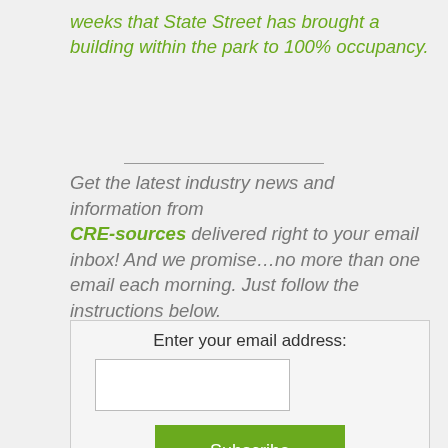weeks that State Street has brought a building within the park to 100% occupancy.
Get the latest industry news and information from CRE-sources delivered right to your email inbox! And we promise…no more than one email each morning. Just follow the instructions below.
[Figure (other): Email subscription form with input field and Subscribe button]